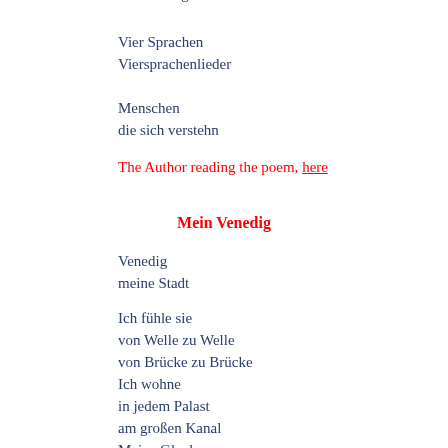dich zu tragen
Vier Sprachen
Viersprachenlieder
Menschen
die sich verstehn
The Author reading the poem, here
Mein Venedig
Venedig
meine Stadt
Ich fühle sie
von Welle zu Welle
von Brücke zu Brücke
Ich wohne
in jedem Palast
am großen Kanal
Meine Glocken
läuten Gedichte